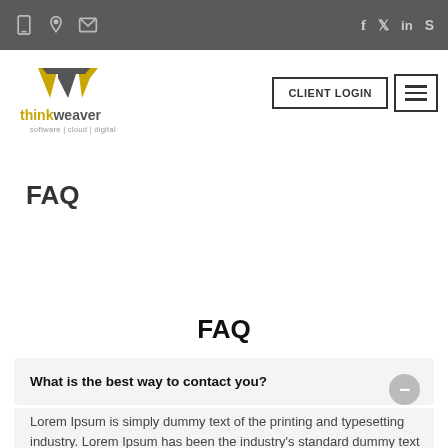thinkweaver software | cloud | digital — CLIENT LOGIN — top navigation bar with phone, location, mail, facebook, twitter, linkedin, skype icons
[Figure (logo): ThinkWeaver logo: stylized W mark in dark gray and gold/yellow, with text 'thinkweaver' below in dark gray and gold, and 'software | cloud | digital' in small gray text]
FAQ
FAQ
What is the best way to contact you?
Lorem Ipsum is simply dummy text of the printing and typesetting industry. Lorem Ipsum has been the industry's standard dummy text since the 1500...